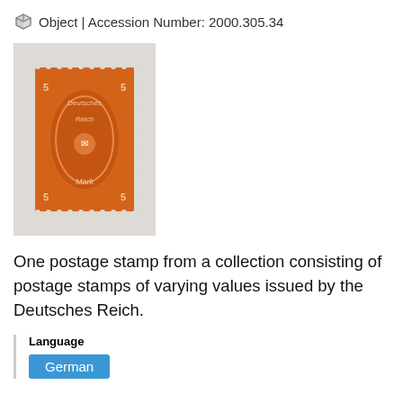Object | Accession Number: 2000.305.34
[Figure (photo): A German postage stamp (Deutsches Reich) showing 5 Mark value with postal horn design, orange/red color, perforated edges, on a light grey background.]
One postage stamp from a collection consisting of postage stamps of varying values issued by the Deutsches Reich.
Language
German